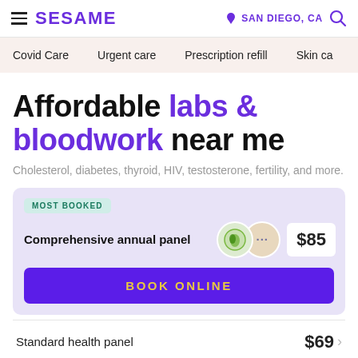SESAME | SAN DIEGO, CA
Covid Care
Urgent care
Prescription refill
Skin ca...
Affordable labs & bloodwork near me
Cholesterol, diabetes, thyroid, HIV, testosterone, fertility, and more.
MOST BOOKED
Comprehensive annual panel $85
BOOK ONLINE
Standard health panel $69